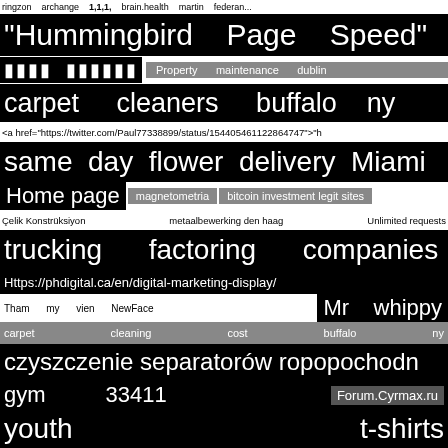ringzon archange 1,1,1, brain.health martin federan...
"Hummingbird Page Speed"
[Arabic text] Property maintenance dublin
carpet cleaners buffalo ny
<a href="https://twitter.com/Paul77338899/status/154405461122864747">"h
same day flower delivery Miami
Home page  magnetometria  bitcoin investment legit sites
Celik Konstrüksiyon  metaalbewerking den haag  Unlimited requests
trucking factoring companies
Https://phdigital.ca/en/digital-marketing-display/
Tham my vien NewFace  Mr whippy
carpet cleaning cost buffalo ny
czyszczenie separatorów ropopochodn
gym  33411  Forum.Cyrmax.ru
youth  t-shirts
Natural Metabolism Booster
top criminal lawyer toronto
new web email  انجام پروژه matlab  cbd gummy bears